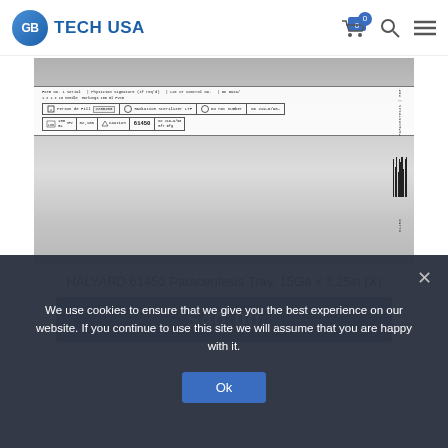GB TECH USA
[Figure (photo): Photo of HALYARD 61450 Paracentesis Tray medical device packaging with label showing product number 61450, text details, and barcodes.]
HALYARD 61450 Paracentesis Tray, 15Ga x 3.25in (X)
$40.00
We use cookies to ensure that we give you the best experience on our website. If you continue to use this site we will assume that you are happy with it.
Ok